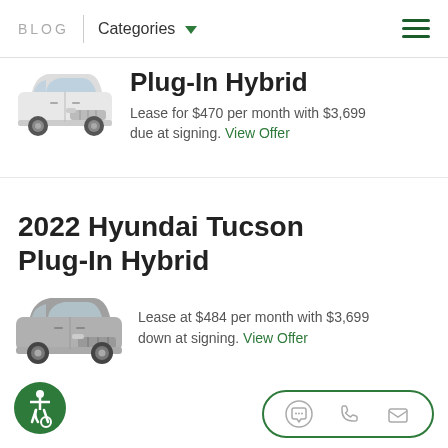BLOG | Categories
Plug-In Hybrid
Lease for $470 per month with $3,699 due at signing. View Offer
2022 Hyundai Tucson Plug-In Hybrid
Lease at $484 per month with $3,699 down at signing. View Offer